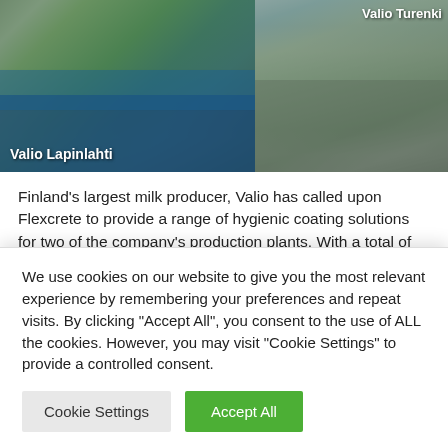[Figure (photo): Two aerial photos of Valio production plants. Left: Valio Lapinlahti plant near a river with trees. Right: Valio Turenki plant aerial view showing industrial buildings and parking.]
Valio Lapinlahti
Valio Turenki
Finland's largest milk producer, Valio has called upon Flexcrete to provide a range of hygienic coating solutions for two of the company's production plants. With a total of 15 plants all across Finland and turnover of 1.9 billion Euros, Valio produces a range of dairy products including milk, cheese, yoghurt, butter and whey powders for baby milk.
A water-based, semi-gloss hygiene coating, Biodex Sheen was specified to protect 12,000m² of internal walls and ceilings at
We use cookies on our website to give you the most relevant experience by remembering your preferences and repeat visits. By clicking "Accept All", you consent to the use of ALL the cookies. However, you may visit "Cookie Settings" to provide a controlled consent.